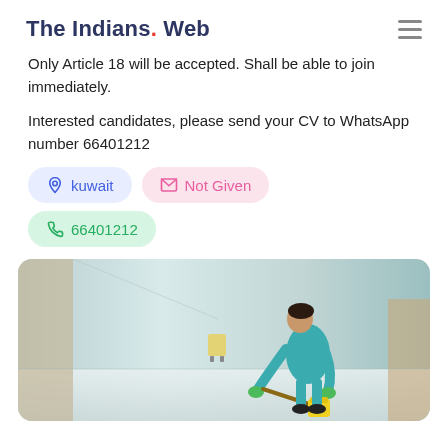The Indians Web
Only Article 18 will be accepted. Shall be able to join immediately.
Interested candidates, please send your CV to WhatsApp number 66401212
kuwait
Not Given
66401212
[Figure (photo): A woman in teal scrubs and green gloves mopping a hospital corridor floor, with cleaning cart visible in the background.]